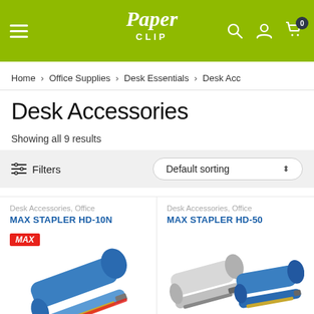[Figure (logo): Paper Clip store logo on green/lime header bar with hamburger menu, search icon, user icon, and cart icon with badge showing 0]
Home > Office Supplies > Desk Essentials > Desk Acc
Desk Accessories
Showing all 9 results
≡ Filters   Default sorting ⬍
Desk Accessories, Office
MAX STAPLER HD-10N
[Figure (photo): Blue MAX stapler HD-10N with MAX brand badge in red, shown at an angle]
Desk Accessories, Office
MAX STAPLER HD-50
[Figure (photo): Two MAX staplers HD-50 in grey and blue colors, shown side by side]